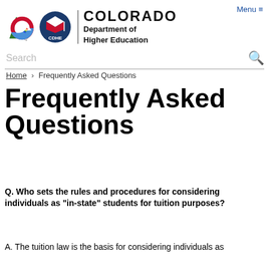[Figure (logo): Colorado state logo (C with tree and mountains) and CDHE logo side by side with Colorado Department of Higher Education text]
Menu ≡
Search
Home › Frequently Asked Questions
Frequently Asked Questions
Q. Who sets the rules and procedures for considering individuals as "in-state" students for tuition purposes?
A. The tuition law is the basis for considering individuals as